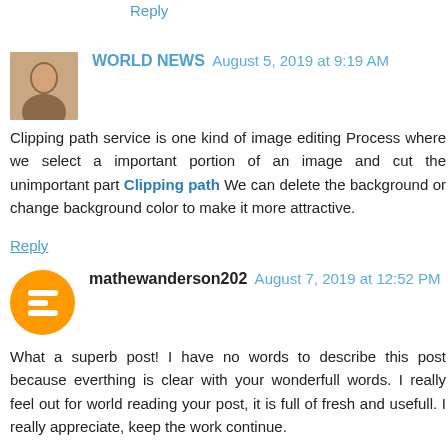Reply
WORLD NEWS  August 5, 2019 at 9:19 AM
Clipping path service is one kind of image editing Process where we select a important portion of an image and cut the unimportant part Clipping path We can delete the background or change background color to make it more attractive.
Reply
mathewanderson202  August 7, 2019 at 12:52 PM
What a superb post! I have no words to describe this post because everthing is clear with your wonderfull words. I really feel out for world reading your post, it is full of fresh and usefull. I really appreciate, keep the work continue.
norton.com/setup ! www.norton.com/setup ! office.com/setup ! office.com/setup ! mcafee.com/activate !